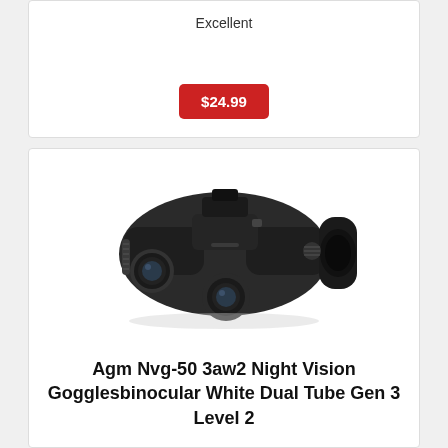Excellent
$24.99
[Figure (photo): AGM NVG-50 3AW2 Night Vision Goggles binocular device, black, dual tube design with circular objective lenses and eyepieces, mounted on white background]
Agm Nvg-50 3aw2 Night Vision Gogglesbinocular White Dual Tube Gen 3 Level 2